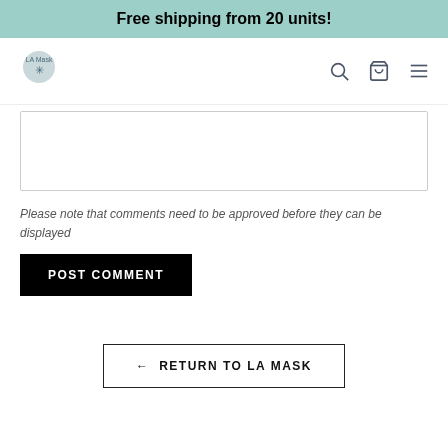Free shipping from 20 units!
[Figure (logo): LA Mask logo - circular grey logo with snowflake/asterisk icon]
Please note that comments need to be approved before they can be displayed
POST COMMENT
← RETURN TO LA MASK